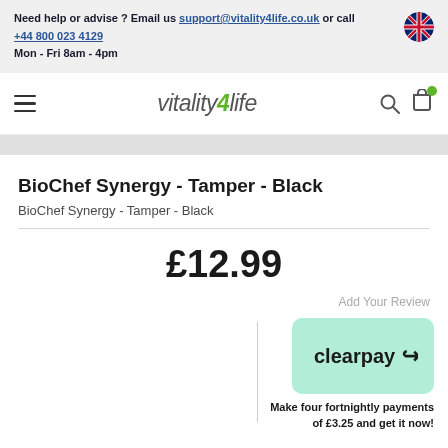Need help or advise ? Email us support@vitality4life.co.uk or call +44 800 023 4129 Mon - Fri 8am - 4pm
[Figure (logo): Vitality4Life logo with green leaf and stylized text]
BioChef Synergy - Tamper - Black
BioChef Synergy - Tamper - Black
£12.99
Add Your Review
[Figure (logo): Clearpay logo on mint green rounded rectangle background]
Make four fortnightly payments of £3.25 and get it now!